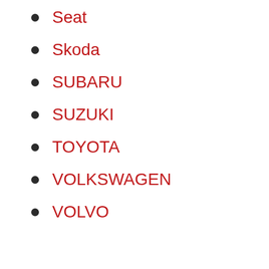Seat
Skoda
SUBARU
SUZUKI
TOYOTA
VOLKSWAGEN
VOLVO